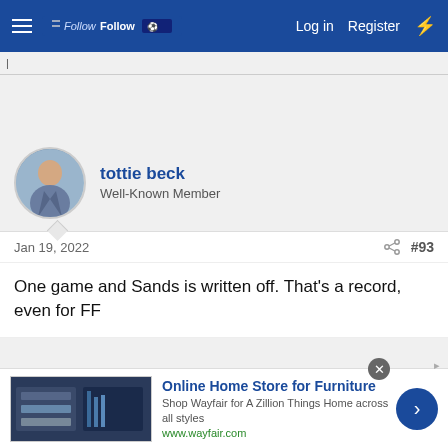FollowFollow — Log in  Register
tottie beck
Well-Known Member
Jan 19, 2022  #93
One game and Sands is written off. That's a record, even for FF
instructor
Well-Known Member
Online Home Store for Furniture
Shop Wayfair for A Zillion Things Home across all styles
www.wayfair.com